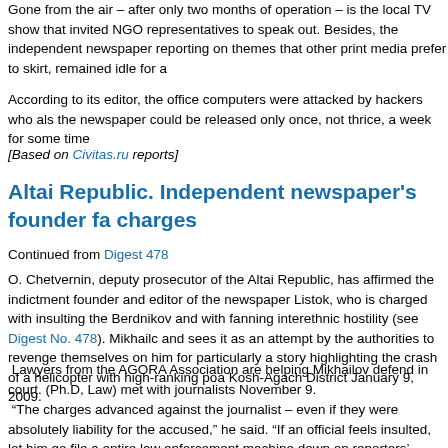Gone from the air – after only two months of operation – is the local TV show that invited NGO representatives to speak out. Besides, the independent newspaper reporting on themes that other print media prefer to skirt, remained idle for a
According to its editor, the office computers were attacked by hackers who also the newspaper could be released only once, not thrice, a week for some time
[Based on Civitas.ru reports]
Altai Republic. Independent newspaper's founder fa charges
Continued from Digest 478
O. Chetvernin, deputy prosecutor of the Altai Republic, has affirmed the indic founder and editor of the newspaper Listok, who is charged with insulting the Berdnikov and with fanning interethnic hostility (see Digest No. 478). Mikhailc and sees it as an attempt by the authorities to revenge themselves on him for particularly a story highlighting the crash of a helicopter with high-ranking poa Kosh-Agach District January 9, 2009.
Lawyers from the AGORA Association are helping Mikhailov defend in court. (Ph.D, Law) met with journalists November 9.
“The charges advanced against the journalist – even if they were absolutely liability for the accused,” he said. “If an official feels insulted, let him go file a entire law enforcement machine down on reporters’ heads! Any citizen is free journalist, it’s ‘a must’ professionally. The linguists and psychologists from wh conclusions did not find any insulting statements or elements of interethnic h